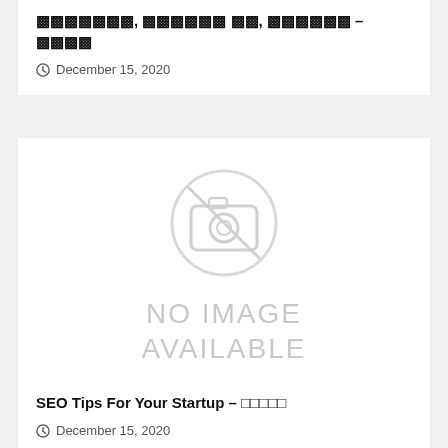▪▪▪▪▪▪▪, ▪▪▪▪▪▪ ▪▪, ▪▪▪▪▪▪ – ▪▪▪▪
December 15, 2020
[Figure (illustration): No image available placeholder with camera icon crossed out]
SEO Tips For Your Startup – □□□□□
December 15, 2020